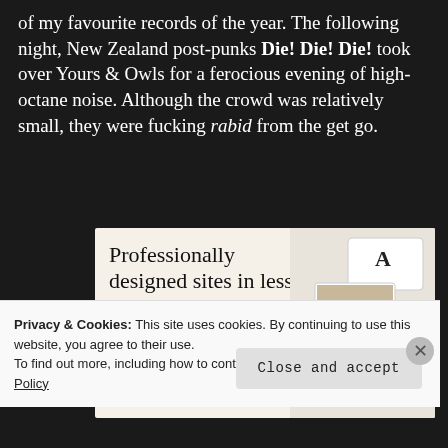of my favourite records of the year. The following night, New Zealand post-punks Die! Die! Die! took over Yours & Owls for a ferocious evening of high-octane noise. Although the crowd was relatively small, they were fucking rabid from the get go.
[Figure (infographic): Advertisement banner for website builder: 'Professionally designed sites in less than a week' with green 'Explore options' button and website mockup images on right side]
Privacy & Cookies: This site uses cookies. By continuing to use this website, you agree to their use.
To find out more, including how to control cookies, see here: Cookie Policy
Close and accept